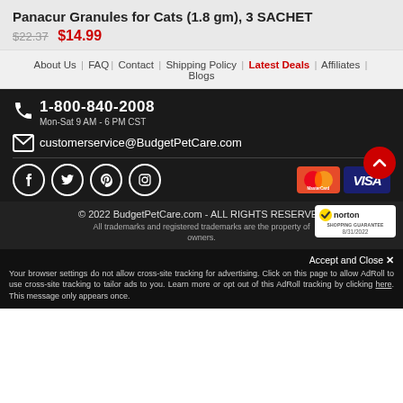Panacur Granules for Cats (1.8 gm), 3 SACHET
$22.37  $14.99
About Us | FAQ | Contact | Shipping Policy | Latest Deals | Affiliates | Blogs
1-800-840-2008
Mon-Sat 9 AM - 6 PM CST
customerservice@BudgetPetCare.com
[Figure (screenshot): Social media icons (Facebook, Twitter, Pinterest, Instagram) and payment logos (MasterCard, Visa) with scroll-to-top button]
© 2022 BudgetPetCare.com - ALL RIGHTS RESERVED
All trademarks and registered trademarks are the property of owners.
[Figure (logo): Norton Shopping Guarantee badge dated 8/31/2022]
Accept and Close ✕
Your browser settings do not allow cross-site tracking for advertising. Click on this page to allow AdRoll to use cross-site tracking to tailor ads to you. Learn more or opt out of this AdRoll tracking by clicking here. This message only appears once.